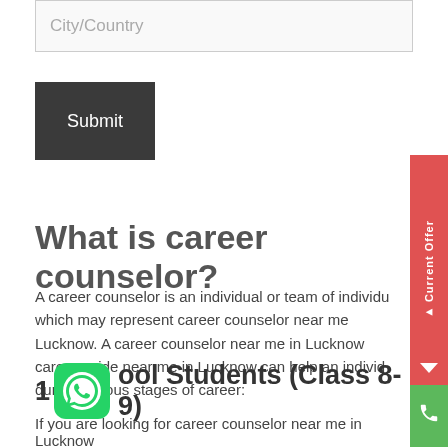[Figure (screenshot): City/Country input text field with light gray background and border]
[Figure (screenshot): Dark gray Submit button]
What is career counselor?
A career counselor is an individual or team of individuals which may represent career counselor near me Lucknow. A career counselor near me in Lucknow career guide near me in Lucknow can help an individual during various stages of career:
1. School Students (Class 8-9)
If you are looking for career counselor near me in Lucknow
[Figure (screenshot): Red sidebar with 'Current Offer' text rotated vertically and arrow indicator, plus green phone call button below]